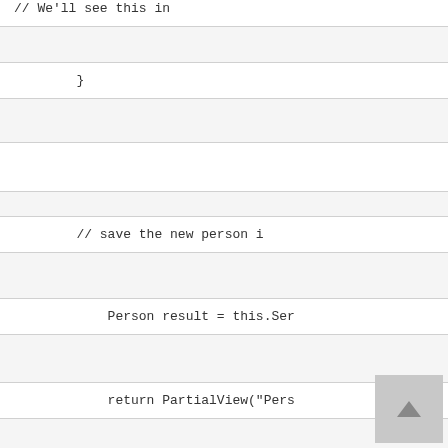[Figure (screenshot): Code block showing: // We'll see this in (truncated)]
[Figure (screenshot): Code block showing closing brace: }]
[Figure (screenshot): Code block showing empty line]
[Figure (screenshot): Code block showing: // save the new person i (truncated)]
[Figure (screenshot): Code block showing: Person result = this.Ser (truncated)]
[Figure (screenshot): Code block showing: return PartialView("Pers (truncated)]
[Figure (screenshot): Code block showing closing brace: }]
So what do we do, when user enters incorrect data into the form that's not valid? You can't just return some other partial view, because javascript expects something else. You could of